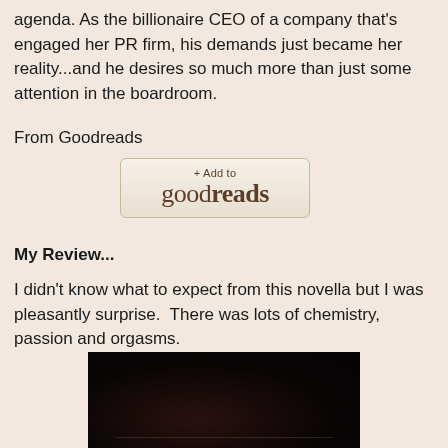agenda. As the billionaire CEO of a company that's engaged her PR firm, his demands just became her reality...and he desires so much more than just some attention in the boardroom.
From Goodreads
[Figure (logo): + Add to goodreads button]
My Review...
I didn't know what to expect from this novella but I was pleasantly surprise.  There was lots of chemistry, passion and orgasms.
[Figure (photo): Dark/nearly black image, possibly a book cover or scene photo]